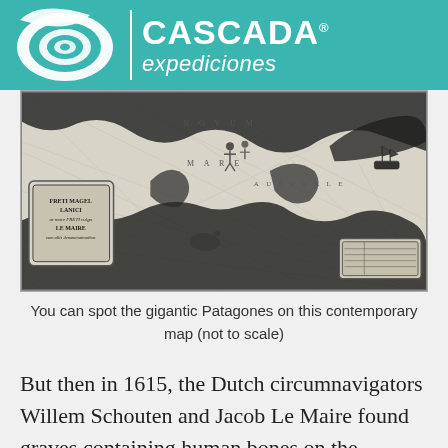[Figure (logo): Cascada Expediciones logo with teal background, spiral shell graphic, vertical white divider, and white text reading CASCADA expediciones]
[Figure (map): Historical black and white map of the Strait of Magellan region (Freti Magellanici) showing Patagonian coastlines, sea monsters, ships, and figures; labeled with NOVUM MARE AUSTRALE and a cartouche for FRETI MAGELLANICI]
You can spot the gigantic Patagones on this contemporary map (not to scale)
But then in 1615, the Dutch circumnavigators Willem Schouten and Jacob Le Maire found graves containing human bones on the Patagonian shores, bones of beings which